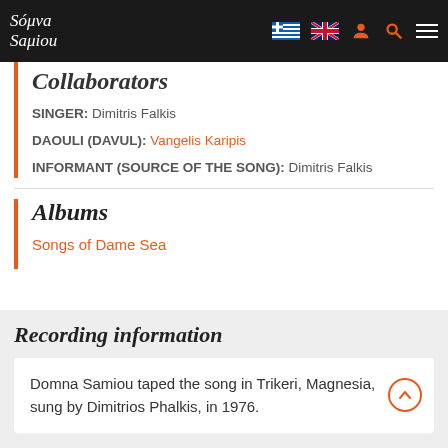Domna Samiou
Collaborators
SINGER: Dimitris Falkis
DAOULI (DAVUL): Vangelis Karipis
INFORMANT (SOURCE OF THE SONG): Dimitris Falkis
Albums
Songs of Dame Sea
Recording information
Domna Samiou taped the song in Trikeri, Magnesia, sung by Dimitrios Phalkis, in 1976.